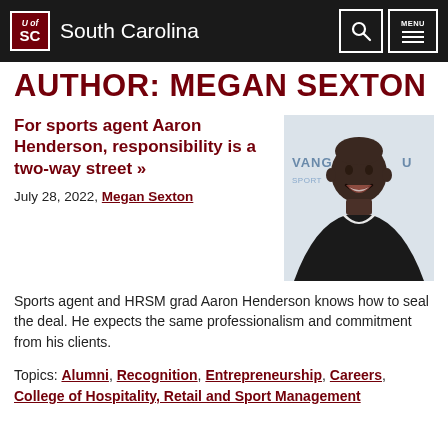South Carolina — University of South Carolina navigation bar with search and menu buttons
AUTHOR: MEGAN SEXTON
For sports agent Aaron Henderson, responsibility is a two-way street »
July 28, 2022, Megan Sexton
[Figure (photo): Headshot of Aaron Henderson, a smiling Black man in a dark blazer over white shirt, in front of a Vanguard Sports backdrop]
Sports agent and HRSM grad Aaron Henderson knows how to seal the deal. He expects the same professionalism and commitment from his clients.
Topics: Alumni, Recognition, Entrepreneurship, Careers, College of Hospitality, Retail and Sport Management